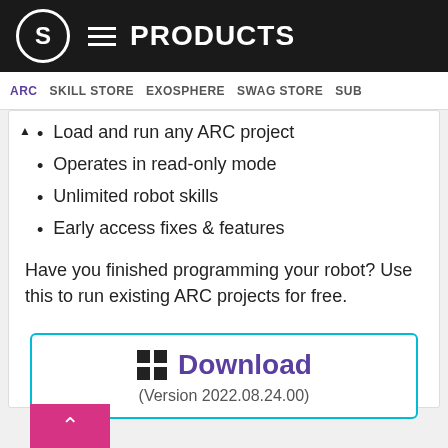S  ≡  PRODUCTS
ARC  SKILL STORE  EXOSPHERE  SWAG STORE  SUB
Load and run any ARC project
Operates in read-only mode
Unlimited robot skills
Early access fixes & features
Have you finished programming your robot? Use this to run existing ARC projects for free.
[Figure (screenshot): Download button with Windows icon, labeled 'Download' in purple and version '(Version 2022.08.24.00)']